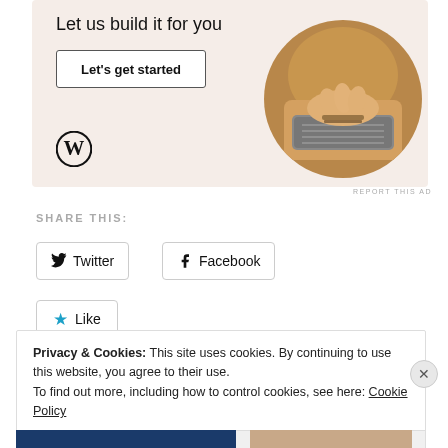[Figure (illustration): WordPress advertisement banner with light beige background. Text 'Let us build it for you', a 'Let's get started' button, a WordPress logo (circle W), and a circular photo of hands typing on a laptop.]
REPORT THIS AD
SHARE THIS:
Twitter  Facebook
Like
Privacy & Cookies: This site uses cookies. By continuing to use this website, you agree to their use.
To find out more, including how to control cookies, see here: Cookie Policy
Close and accept